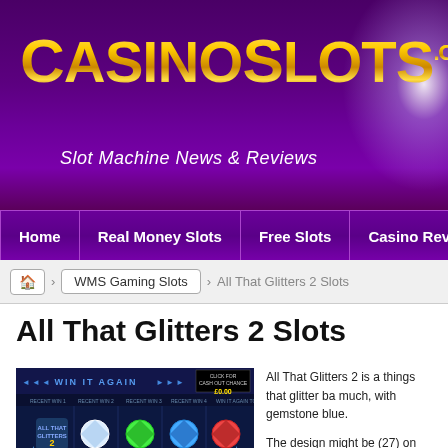[Figure (logo): CasinoSlots.com logo with gold text on purple background and sparkle effect, tagline: Slot Machine News & Reviews]
Home | Real Money Slots | Free Slots | Casino Rev
WMS Gaming Slots > All That Glitters 2 Slots
All That Glitters 2 Slots
[Figure (screenshot): Screenshot of All That Glitters 2 slot machine game showing WIN IT AGAIN bar, gemstone symbols on reels with blue background]
All That Glitters 2 is a things that glitter ba much, with gemstone blue.

The design might be (27) on the 5 reels. bonus game and mul